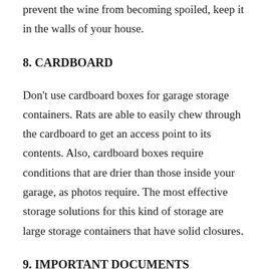prevent the wine from becoming spoiled, keep it in the walls of your house.
8. CARDBOARD
Don't use cardboard boxes for garage storage containers. Rats are able to easily chew through the cardboard to get an access point to its contents. Also, cardboard boxes require conditions that are drier than those inside your garage, as photos require. The most effective storage solutions for this kind of storage are large storage containers that have solid closures.
9. IMPORTANT DOCUMENTS
Each important document must be kept dry and in the